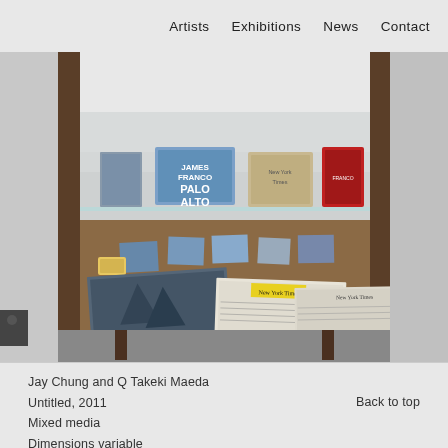Artists   Exhibitions   News   Contact
[Figure (photo): A glass display case with dark wooden frame viewed from above at an angle, containing books and printed materials on an upper glass shelf (including a blue book labeled 'Palo Alto', a beige book, and a red book), and photographs, small prints, and newspapers on the lower wooden shelf surface.]
Jay Chung and Q Takeki Maeda
Untitled, 2011
Mixed media
Dimensions variable
Back to top